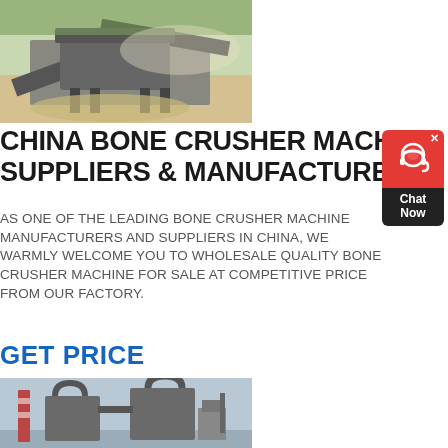[Figure (photo): Industrial crushing/quarry machinery with conveyor belts at an open-pit mining site, sandy/rocky terrain visible]
CHINA BONE CRUSHER MACHINE SUPPLIERS & MANUFACTURERS
AS ONE OF THE LEADING BONE CRUSHER MACHINE MANUFACTURERS AND SUPPLIERS IN CHINA, WE WARMLY WELCOME YOU TO WHOLESALE QUALITY BONE CRUSHER MACHINE FOR SALE AT COMPETITIVE PRICE FROM OUR FACTORY.
GET PRICE
[Figure (photo): Industrial bone crusher machinery with large cylindrical components, pipes and chimneys visible at a factory site]